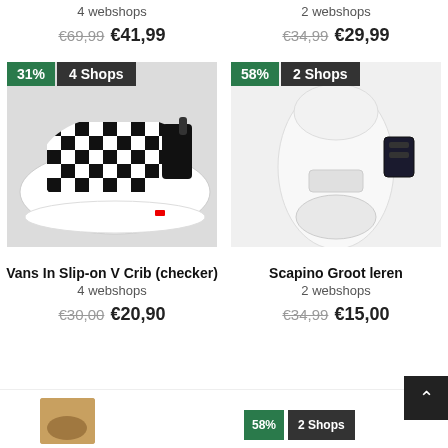4 webshops
2 webshops
€69,99  €41,99
€34,99  €29,99
[Figure (photo): Vans checkerboard black and white slip-on baby shoe, viewed from the side. Badge: 31%, 4 Shops.]
[Figure (photo): White sandal/clog bottom view with velcro strap. Badge: 58%, 2 Shops.]
Vans In Slip-on V Crib (checker)
4 webshops
€30,00  €20,90
Scapino Groot leren
2 webshops
€34,99  €15,00